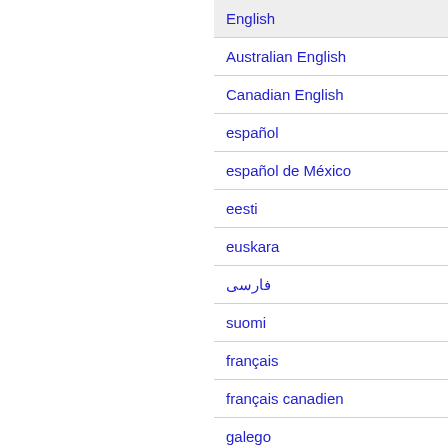English
Australian English
Canadian English
español
español de México
eesti
euskara
فارسی
suomi
français
français canadien
galego
עברית
hrvatski
magyar